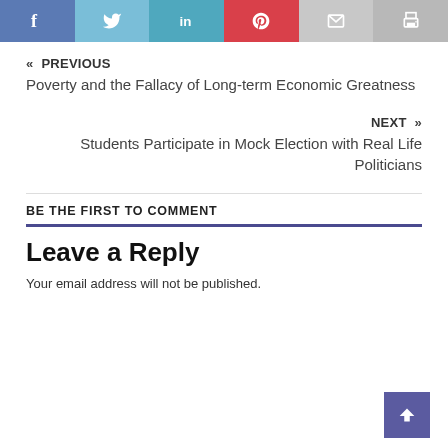[Figure (other): Social sharing bar with Facebook, Twitter, LinkedIn, Pinterest, Email, and Print buttons]
« PREVIOUS
Poverty and the Fallacy of Long-term Economic Greatness
NEXT »
Students Participate in Mock Election with Real Life Politicians
BE THE FIRST TO COMMENT
Leave a Reply
Your email address will not be published.